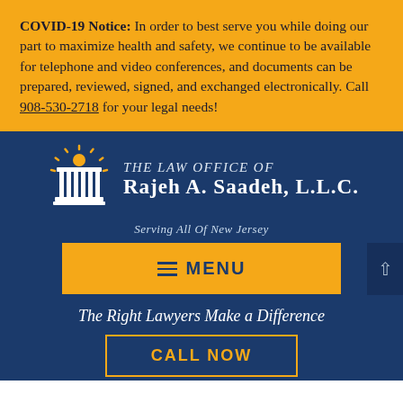COVID-19 Notice: In order to best serve you while doing our part to maximize health and safety, we continue to be available for telephone and video conferences, and documents can be prepared, reviewed, signed, and exchanged electronically. Call 908-530-2718 for your legal needs!
[Figure (logo): The Law Office of Rajeh A. Saadeh, L.L.C. logo with a white classical column icon topped with a golden sunburst on a dark navy background, and text 'The Law Office of Rajeh A. Saadeh, L.L.C.' in white.]
Serving All Of New Jersey
≡ MENU
The Right Lawyers Make a Difference
CALL NOW